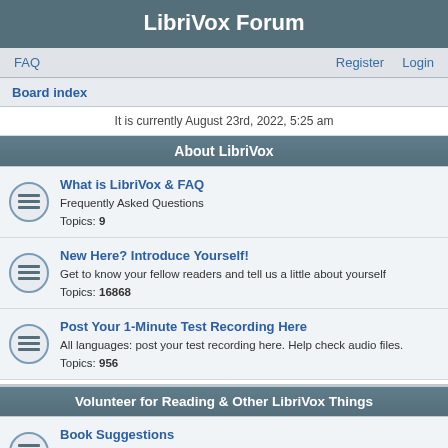LibriVox Forum
FAQ   Register   Login
Board index
It is currently August 23rd, 2022, 5:25 am
About LibriVox
What is LibriVox & FAQ
Frequently Asked Questions
Topics: 9
New Here? Introduce Yourself!
Get to know your fellow readers and tell us a little about yourself
Topics: 16868
Post Your 1-Minute Test Recording Here
All languages: post your test recording here. Help check audio files.
Topics: 956
Volunteer for Reading & Other LibriVox Things
Book Suggestions
Suggest and discuss books to read (all languages welcome!)
Topics: 3041
New Projects Launch Pad
Post ALL new projects here (solos, books, short works/poetry collections,